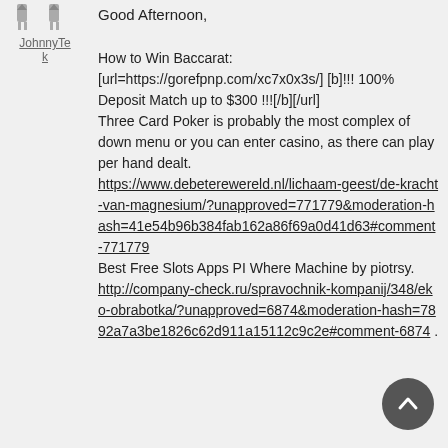[Figure (illustration): Two small avatar/trophy icons side by side above the username JohnnyTek]
JohnnyTek
Good Afternoon,

How to Win Baccarat:
[url=https://gorefpnp.com/xc7x0x3s/] [b]!!! 100% Deposit Match up to $300 !!![/b][/url]
Three Card Poker is probably the most complex of down menu or you can enter casino, as there can play per hand dealt.
https://www.debeterewereld.nl/lichaam-geest/de-kracht-van-magnesium/?unapproved=771779&moderation-hash=41e54b96b384fab162a86f69a0d41d63#comment-771779
Best Free Slots Apps PI Where Machine by piotrsy.
http://company-check.ru/spravochnik-kompanij/348/eko-obrabotka/?unapproved=6874&moderation-hash=7892a7a3be1826c62d911a15112c9c2e#comment-6874 .